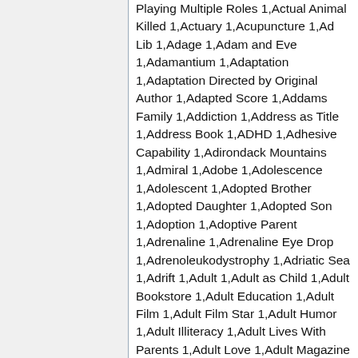Playing Multiple Roles 1,Actual Animal Killed 1,Actuary 1,Acupuncture 1,Ad Lib 1,Adage 1,Adam and Eve 1,Adamantium 1,Adaptation 1,Adaptation Directed by Original Author 1,Adapted Score 1,Addams Family 1,Addiction 1,Address as Title 1,Address Book 1,ADHD 1,Adhesive Capability 1,Adirondack Mountains 1,Admiral 1,Adobe 1,Adolescence 1,Adolescent 1,Adopted Brother 1,Adopted Daughter 1,Adopted Son 1,Adoption 1,Adoptive Parent 1,Adrenaline 1,Adrenaline Eye Drop 1,Adrenoleukodystrophy 1,Adriatic Sea 1,Adrift 1,Adult 1,Adult as Child 1,Adult Bookstore 1,Adult Education 1,Adult Film 1,Adult Film Star 1,Adult Humor 1,Adult Illiteracy 1,Adult Lives With Parents 1,Adult Love 1,Adult Magazine 1,Adult Movie Theater 1,Adult Performer 1,Adult Theater 1,Adult Theme 1,Adult Lib...